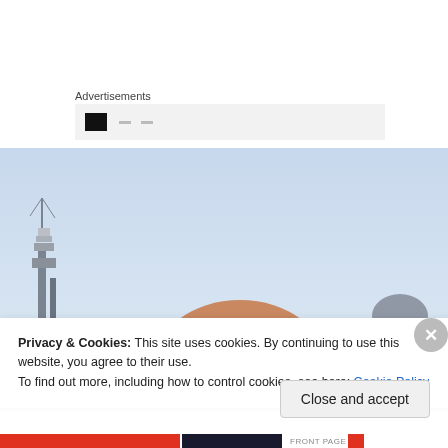Advertisements
[Figure (photo): Advertisement placeholder box with dark icon and dashes on gray background]
[Figure (photo): Outdoor photo showing a bald person's head from above, an industrial structure on the left, and another person in gray on the right, with a light blue sky background]
Privacy & Cookies: This site uses cookies. By continuing to use this website, you agree to their use.
To find out more, including how to control cookies, see here: Cookie Policy
Close and accept